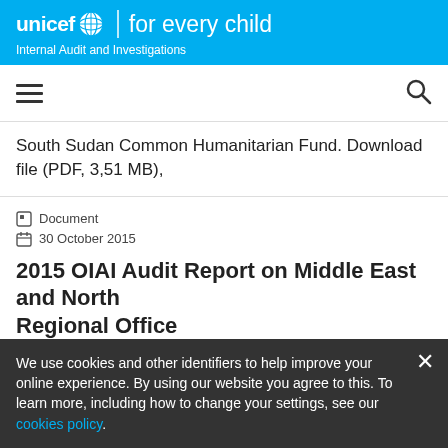unicef for every child | Internal Audit and Investigations
South Sudan Common Humanitarian Fund. Download file (PDF, 3,51 MB),
Document
30 October 2015
2015 OIAI Audit Report on Middle East and North Regional Office
https://www.unicef.org/auditandinvestigati...
The audit is about 2015 review of UNICEF's Middle East and N...
We use cookies and other identifiers to help improve your online experience. By using our website you agree to this. To learn more, including how to change your settings, see our cookies policy.